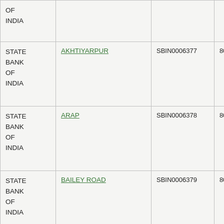| Bank Name | Branch | IFSC | MICR |
| --- | --- | --- | --- |
| STATE BANK OF INDIA |  |  |  |
| STATE BANK OF INDIA | AKHTIYARPUR | SBIN0006377 | 800002509 |
| STATE BANK OF INDIA | ARAP | SBIN0006378 | 800002510 |
| STATE BANK OF INDIA | BAILEY ROAD | SBIN0006379 | 800002006 |
| STATE BANK OF INDIA | BANKAGHAT | SBIN0006380 | 800002511 |